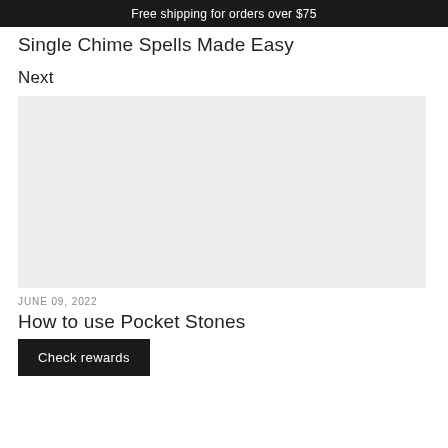Free shipping for orders over $75
Single Chime Spells Made Easy
Next
[Figure (photo): Light gray placeholder image for a blog post thumbnail]
JUNE 09, 2022
How to use Pocket Stones
Check rewards